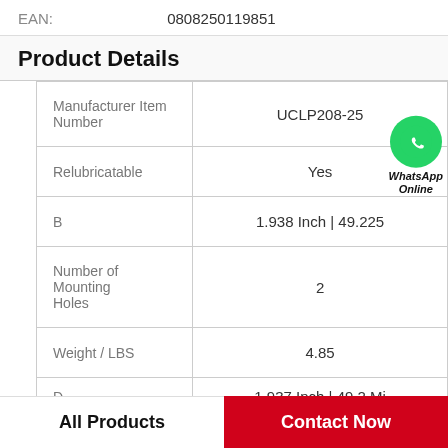EAN: 0808250119851
Product Details
| Property | Value |
| --- | --- |
| Manufacturer Item Number | UCLP208-25 |
| Relubricatable | Yes |
| B | 1.938 Inch | 49.225 |
| Number of Mounting Holes | 2 |
| Weight / LBS | 4.85 |
| D | 1.937 Inch | 49.2 Mi |
All Products   Contact Now